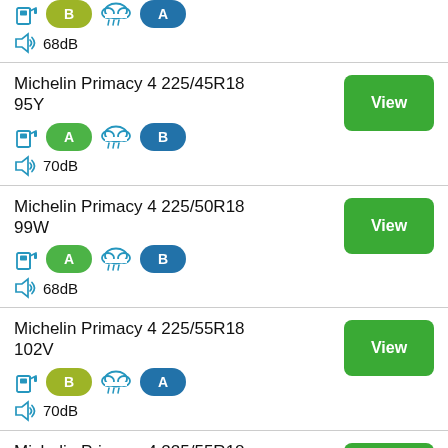68dB
Michelin Primacy 4 225/45R18 95Y
70dB
Michelin Primacy 4 225/50R18 99W
68dB
Michelin Primacy 4 225/55R18 102V
70dB
Michelin Primacy 4 225/55R18 102V